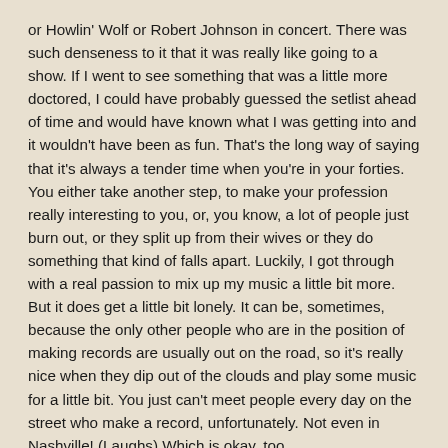or Howlin' Wolf or Robert Johnson in concert. There was such denseness to it that it was really like going to a show. If I went to see something that was a little more doctored, I could have probably guessed the setlist ahead of time and would have known what I was getting into and it wouldn't have been as fun. That's the long way of saying that it's always a tender time when you're in your forties. You either take another step, to make your profession really interesting to you, or, you know, a lot of people just burn out, or they split up from their wives or they do something that kind of falls apart. Luckily, I got through with a real passion to mix up my music a little bit more. But it does get a little bit lonely. It can be, sometimes, because the only other people who are in the position of making records are usually out on the road, so it's really nice when they dip out of the clouds and play some music for a little bit. You just can't meet people every day on the street who make a record, unfortunately. Not even in Nashville! (Laughs) Which is okay, too…
Nashville could use fewer musicians?